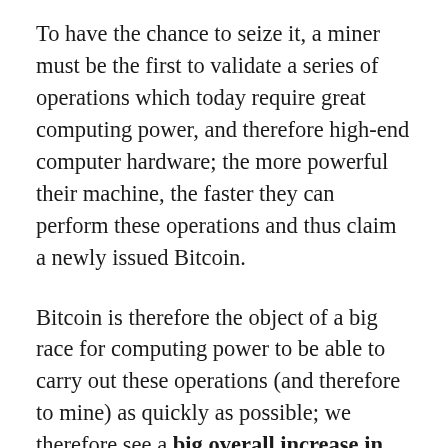To have the chance to seize it, a miner must be the first to validate a series of operations which today require great computing power, and therefore high-end computer hardware; the more powerful their machine, the faster they can perform these operations and thus claim a newly issued Bitcoin.
Bitcoin is therefore the object of a big race for computing power to be able to carry out these operations (and therefore to mine) as quickly as possible; we therefore see a big overall increase in hashrate, that is to say, summarily the overall computing power devoted to these operations. A safeguard has therefore been put in place to prevent the entire stock from being undermined in a